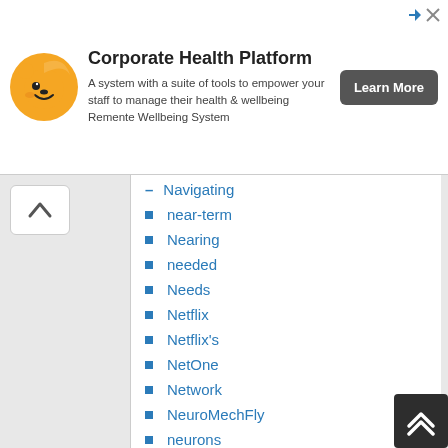[Figure (other): Advertisement banner for Corporate Health Platform by Remente Wellbeing System with a cartoon bear mascot logo and Learn More button]
Navigating
near-term
Nearing
needed
Needs
Netflix
Netflix's
NetOne
Network
NeuroMechFly
neurons
Nevada